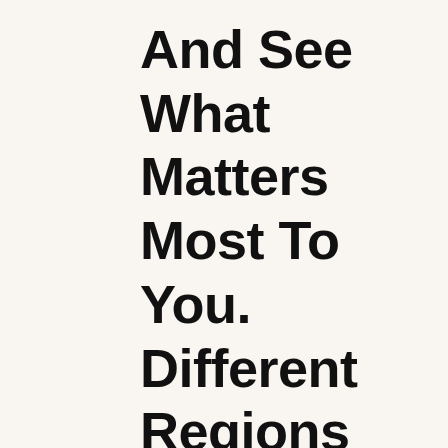And See What Matters Most To You. Different Regions Place More Importance On Different Indicators